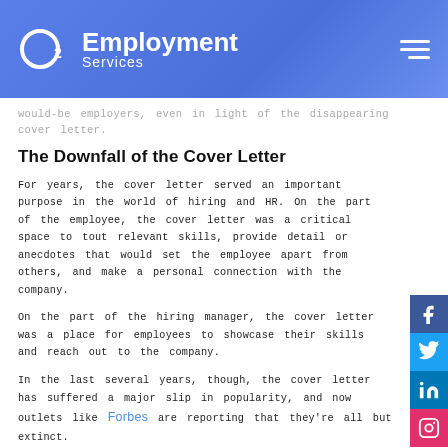O2 Employment Services
would-be employers, even in light of the disappearing cover letter.
The Downfall of the Cover Letter
For years, the cover letter served an important purpose in the world of hiring and HR. On the part of the employee, the cover letter was a critical space to tout relevant skills, provide detail or anecdotes that would set the employee apart from others, and make a personal connection with the company.
On the part of the hiring manager, the cover letter was a place for employees to showcase their skills and reach out to the company.
In the last several years, though, the cover letter has suffered a major slip in popularity, and now outlets like Forbes are reporting that they're all but extinct.
The reasons for this are complex. On the one hand, the influx of job seekers has increased for most companies, and reading through cover